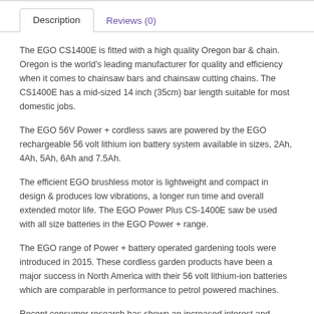Description
Reviews (0)
The EGO CS1400E is fitted with a high quality Oregon bar & chain. Oregon is the world's leading manufacturer for quality and efficiency when it comes to chainsaw bars and chainsaw cutting chains. The CS1400E has a mid-sized 14 inch (35cm) bar length suitable for most domestic jobs.
The EGO 56V Power + cordless saws are powered by the EGO rechargeable 56 volt lithium ion battery system available in sizes, 2Ah, 4Ah, 5Ah, 6Ah and 7.5Ah.
The efficient EGO brushless motor is lightweight and compact in design & produces low vibrations, a longer run time and overall extended motor life. The EGO Power Plus CS-1400E saw be used with all size batteries in the EGO Power + range.
The EGO range of Power + battery operated gardening tools were introduced in 2015. These cordless garden products have been a major success in North America with their 56 volt lithium-ion batteries which are comparable in performance to petrol powered machines.
Recent consumer research has shown an increased interest and demand for outdoor power tools which are quieter and less environmentally polluting than traditional petrol driven models.